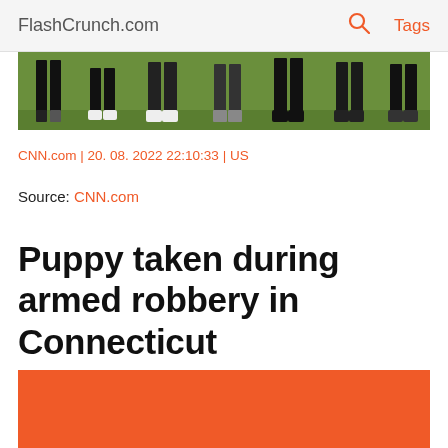FlashCrunch.com  🔍  Tags
[Figure (photo): Cropped photo showing legs and feet of multiple people standing on grass, only the lower portions visible]
CNN.com | 20. 08. 2022 22:10:33 | US
Source: CNN.com
Puppy taken during armed robbery in Connecticut
[Figure (other): Orange/red colored block, partially visible at bottom of page]